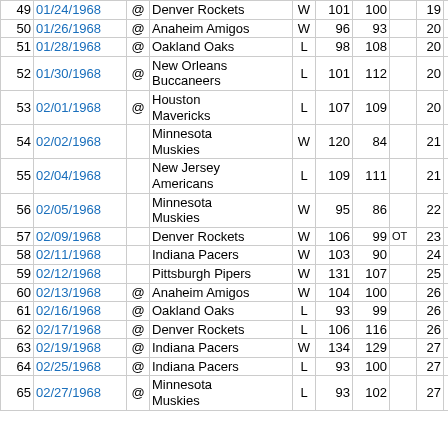| # | Date | @ | Opponent | W/L | Pts | Opp | OT | W | L |
| --- | --- | --- | --- | --- | --- | --- | --- | --- | --- |
| 49 | 01/24/1968 | @ | Denver Rockets | W | 101 | 100 |  | 19 | 30 |
| 50 | 01/26/1968 | @ | Anaheim Amigos | W | 96 | 93 |  | 20 | 30 |
| 51 | 01/28/1968 | @ | Oakland Oaks | L | 98 | 108 |  | 20 | 31 |
| 52 | 01/30/1968 | @ | New Orleans Buccaneers | L | 101 | 112 |  | 20 | 32 |
| 53 | 02/01/1968 | @ | Houston Mavericks | L | 107 | 109 |  | 20 | 33 |
| 54 | 02/02/1968 |  | Minnesota Muskies | W | 120 | 84 |  | 21 | 33 |
| 55 | 02/04/1968 |  | New Jersey Americans | L | 109 | 111 |  | 21 | 34 |
| 56 | 02/05/1968 |  | Minnesota Muskies | W | 95 | 86 |  | 22 | 34 |
| 57 | 02/09/1968 |  | Denver Rockets | W | 106 | 99 | OT | 23 | 34 |
| 58 | 02/11/1968 |  | Indiana Pacers | W | 103 | 90 |  | 24 | 34 |
| 59 | 02/12/1968 |  | Pittsburgh Pipers | W | 131 | 107 |  | 25 | 34 |
| 60 | 02/13/1968 | @ | Anaheim Amigos | W | 104 | 100 |  | 26 | 34 |
| 61 | 02/16/1968 | @ | Oakland Oaks | L | 93 | 99 |  | 26 | 35 |
| 62 | 02/17/1968 | @ | Denver Rockets | L | 106 | 116 |  | 26 | 36 |
| 63 | 02/19/1968 | @ | Indiana Pacers | W | 134 | 129 |  | 27 | 36 |
| 64 | 02/25/1968 | @ | Indiana Pacers | L | 93 | 100 |  | 27 | 37 |
| 65 | 02/27/1968 | @ | Minnesota Muskies | L | 93 | 102 |  | 27 | 38 |